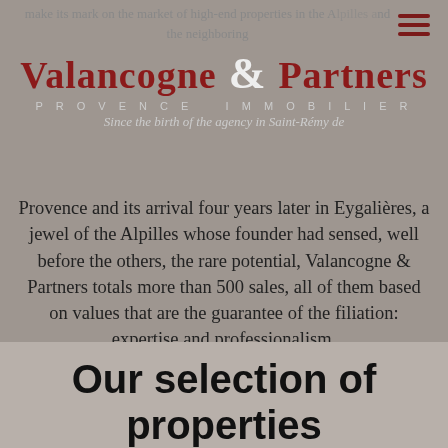make its mark on the market of high-end properties in the Alpilles and the neighboring
[Figure (logo): Valancogne & Partners logo with large cursive ampersand, subtitle PROVENCE IMMOBILIER]
Since the birth of the agency in Saint-Rémy de Provence and its arrival four years later in Eygalières, a jewel of the Alpilles whose founder had sensed, well before the others, the rare potential, Valancogne & Partners totals more than 500 sales, all of them based on values that are the guarantee of the filiation: expertise and professionalism.
Our selection of properties